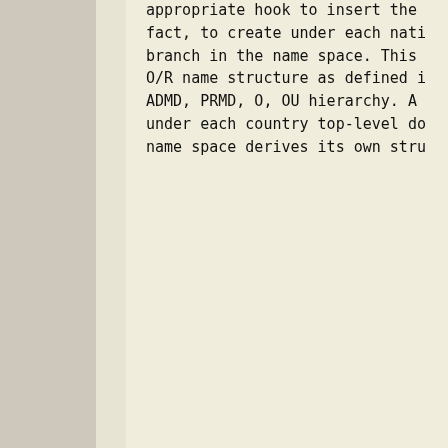appropriate hook to insert the fact, to create under each nati branch in the name space. This O/R name structure as defined i ADMD, PRMD, O, OU hierarchy. A under each country top-level do name space derives its own stru